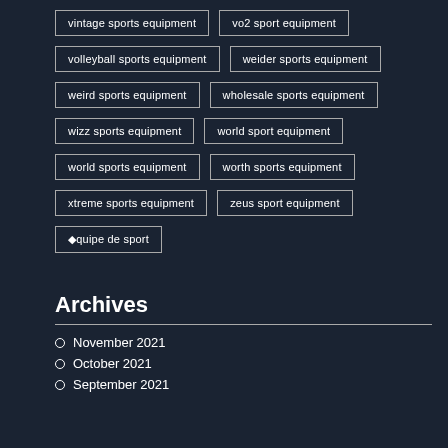vintage sports equipment
vo2 sport equipment
volleyball sports equipment
weider sports equipment
weird sports equipment
wholesale sports equipment
wizz sports equipment
world sport equipment
world sports equipment
worth sports equipment
xtreme sports equipment
zeus sport equipment
équipe de sport
Archives
November 2021
October 2021
September 2021